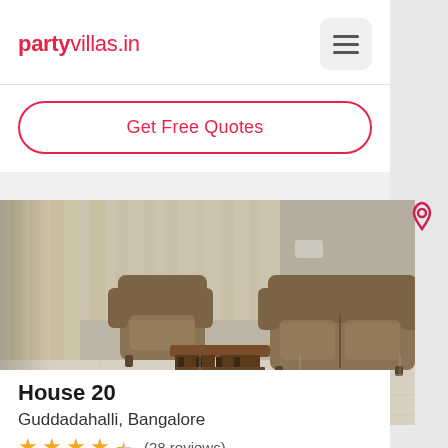partyvillas.in
Get Free Quotes
[Figure (photo): Interior photo of a living room with tan/beige upholstered sofas and a dark wooden coffee table, light curtains in background, light-coloured floor tiles.]
House 20
Guddadahalli, Bangalore
★★★★½ (28 reviews)